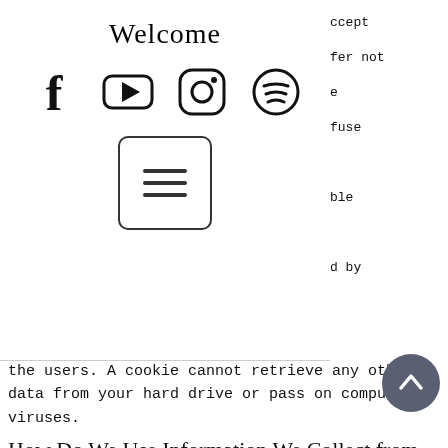Welcome
[Figure (other): Social media icons: Facebook, YouTube, Instagram, Spotify]
[Figure (other): Hamburger menu button with three horizontal lines inside a rounded rectangle]
the users. A cookie cannot retrieve any other data from your hard drive or pass on computer viruses.
How Do We Use Information We Collect from Cookies?
As you visit and browse our Web site, the site uses cookies to differentiate you from other users. In some cases, we also use cookies to prevent you from having to log in more than is necessary for security. Cookies, in conjunction with our Web server's log files, allow us to calculate the aggregate number of people visiting our Web site and which parts of the site are most popular. This